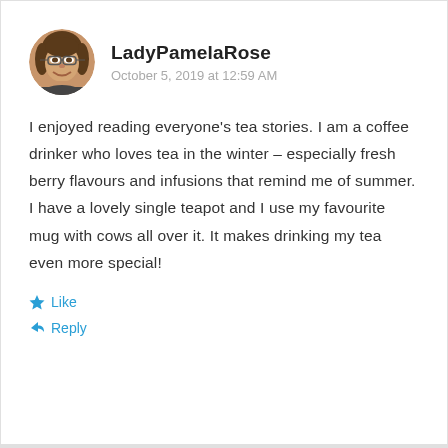[Figure (photo): Circular avatar photo of a woman with glasses, smiling, with shoulder-length brown hair]
LadyPamelaRose
October 5, 2019 at 12:59 AM
I enjoyed reading everyone’s tea stories. I am a coffee drinker who loves tea in the winter – especially fresh berry flavours and infusions that remind me of summer. I have a lovely single teapot and I use my favourite mug with cows all over it. It makes drinking my tea even more special!
★ Like
↪ Reply